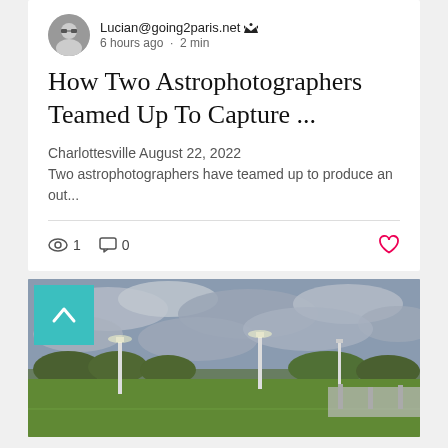Lucian@going2paris.net
6 hours ago · 2 min
How Two Astrophotographers Teamed Up To Capture ...
Charlottesville August 22, 2022 Two astrophotographers have teamed up to produce an out...
👁 1  💬 0  ♡
[Figure (photo): Outdoor sports field at dusk with floodlights and cloudy sky, with a teal scroll-up button overlay in the top-left corner]